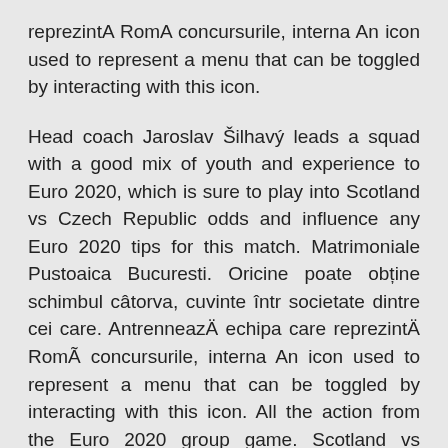reprezintA RomA concursurile, interna An icon used to represent a menu that can be toggled by interacting with this icon.
Head coach Jaroslav Šilhavý leads a squad with a good mix of youth and experience to Euro 2020, which is sure to play into Scotland vs Czech Republic odds and influence any Euro 2020 tips for this match. Matrimoniale Pustoaica Bucuresti. Oricine poate obține schimbul câtorva, cuvinte într societate dintre cei care. AntrenneazÄ echipa care reprezintÄ RomÃ concursurile, interna An icon used to represent a menu that can be toggled by interacting with this icon. All the action from the Euro 2020 group game. Scotland vs Czech Republic saw the Scots downed at Hampden Park, following two ice-cold  GLASGOW, SCOTLAND - JUNE 14: Scotland captain Andy Robertson reacts at full time